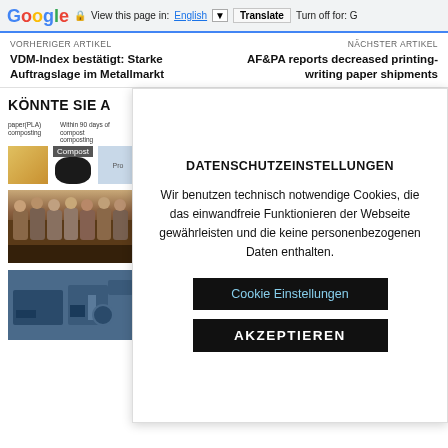Google  View this page in: English [▼]  Translate  Turn off for: G
VORHERIGER ARTIKEL
VDM-Index bestätigt: Starke Auftragslage im Metallmarkt
NÄCHSTER ARTIKEL
AF&PA reports decreased printing-writing paper shipments
KÖNNTE SIE A
[Figure (photo): Small thumbnail images showing paper/PLA composting process]
[Figure (photo): Group photo of people at an event]
[Figure (photo): Industrial machine photo]
DATENSCHUTZEINSTELLUNGEN
Wir benutzen technisch notwendige Cookies, die das einwandfreie Funktionieren der Webseite gewährleisten und die keine personenbezogenen Daten enthalten.
Cookie Einstellungen
AKZEPTIEREN